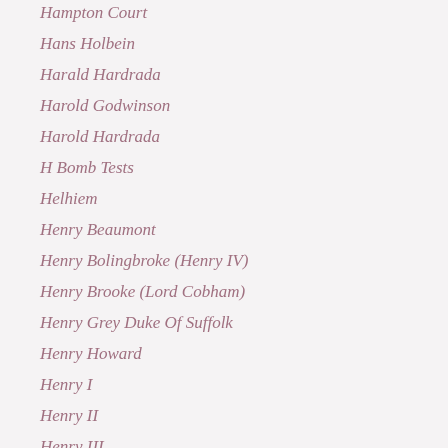Hampton Court
Hans Holbein
Harald Hardrada
Harold Godwinson
Harold Hardrada
H Bomb Tests
Helhiem
Henry Beaumont
Henry Bolingbroke (Henry IV)
Henry Brooke (Lord Cobham)
Henry Grey Duke Of Suffolk
Henry Howard
Henry I
Henry II
Henry III
Henry IV
Henry IV Of France
Henry Of Grosmont
Henry Of Lancaster